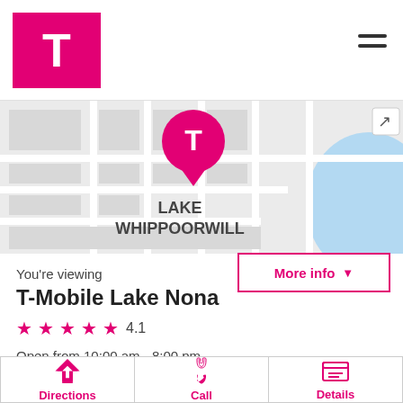[Figure (logo): T-Mobile magenta logo square with white T symbol]
[Figure (map): Map showing T-Mobile store location pin near Lake Whippoorwill and Palmy Ave]
You're viewing
T-Mobile Lake Nona
★★★★★ 4.1
Open from 10:00 am - 8:00 pm
More info ▼
Directions
Call
Details